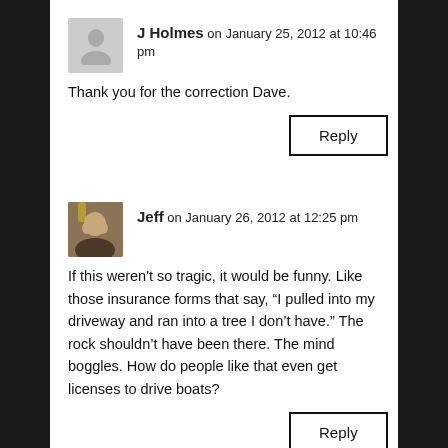J Holmes on January 25, 2012 at 10:46 pm
Thank you for the correction Dave.
Reply
Jeff on January 26, 2012 at 12:25 pm
If this weren't so tragic, it would be funny. Like those insurance forms that say, “I pulled into my driveway and ran into a tree I don’t have.” The rock shouldn’t have been there. The mind boggles. How do people like that even get licenses to drive boats?
Reply